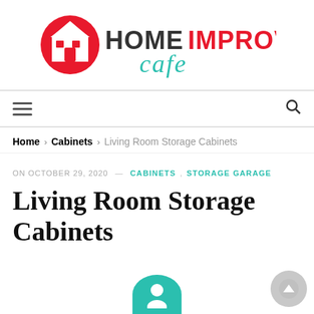[Figure (logo): Home Improvement Cafe logo with red circular house icon and teal cursive 'cafe' script]
Navigation bar with hamburger menu icon and search icon
Home > Cabinets > Living Room Storage Cabinets
ON OCTOBER 29, 2020 — CABINETS , STORAGE GARAGE
Living Room Storage Cabinets